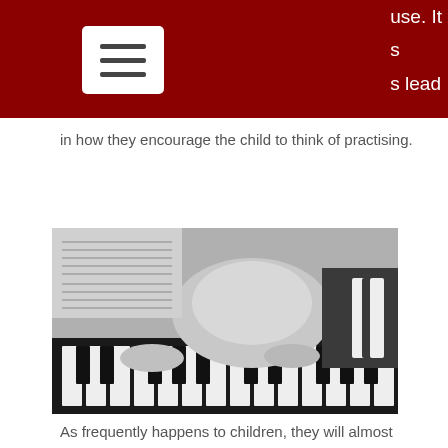use. It s s lead
in how they encourage the child to think of practising.
[Figure (photo): Black and white photo of a young child resting their head on piano keys while pressing one key with a finger, with sheet music visible in the background.]
As frequently happens to children, they will almost definitely go through bad patches where they appear to